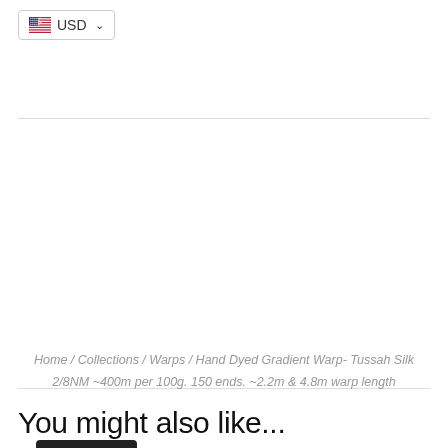USD
Add to Cart
Home / Collections / Warps / Hand Dyed Gradient Warp- Tussah Silk 2/8NM ~400m per 100g. 150 ends. ~2.2m & 4.8m warp length
You might also like...